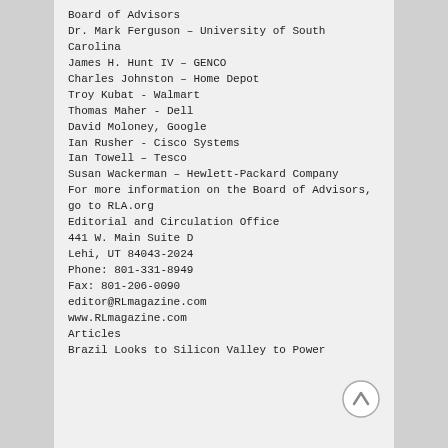Board of Advisors
Dr. Mark Ferguson – University of South Carolina
James H. Hunt IV – GENCO
Charles Johnston – Home Depot
Troy Kubat - Walmart
Thomas Maher - Dell
David Moloney, Google
Ian Rusher - Cisco Systems
Ian Towell – Tesco
Susan Wackerman – Hewlett-Packard Company
For more information on the Board of Advisors,
go to RLA.org
Editorial and Circulation Office
441 W. Main Suite D
Lehi, UT 84043-2024
Phone: 801-331-8949
Fax: 801-206-0090
editor@RLmagazine.com
www.RLmagazine.com
Articles
Brazil Looks to Silicon Valley to Power